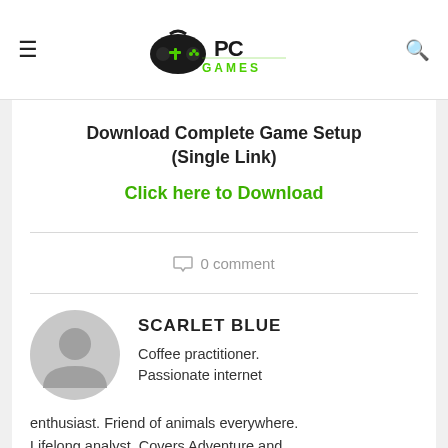PC Games — navigation bar with hamburger menu and search icon
Download Complete Game Setup (Single Link)
Click here to Download
0 comment
SCARLET BLUE
Coffee practitioner. Passionate internet enthusiast. Friend of animals everywhere. Lifelong analyst. Covers Adventure and